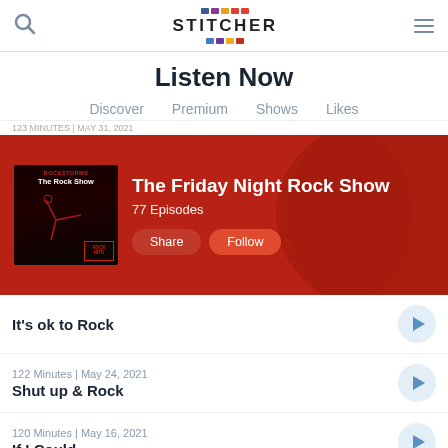Stitcher app header with search, logo, and menu icons
Listen Now
Discover  Premium  Shows  Likes
[Figure (screenshot): The Friday Night Rock Show featured banner with album art, 77 Episodes, Share and Follow buttons on a dark red background]
It's ok to Rock
122 Minutes | May 24, 2021
Shut up & Rock
120 Minutes | May 16, 2021
If I Could...
119 Minutes | May 8, 2021
Rock is the new normal